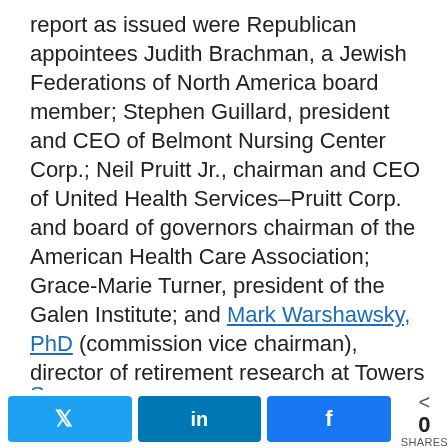report as issued were Republican appointees Judith Brachman, a Jewish Federations of North America board member; Stephen Guillard, president and CEO of Belmont Nursing Center Corp.; Neil Pruitt Jr., chairman and CEO of United Health Services–Pruitt Corp. and board of governors chairman of the American Health Care Association; Grace-Marie Turner, president of the Galen Institute; and Mark Warshawsky, PhD (commission vice chairman), director of retirement research at Towers Watson. Voting against the report, in addition to Democratic appointees Butler, Claypool, Feder, Ruttledge and Stein, was Republican appointee Chris Jacobs, a senior policy analyst with the Heritage Foundation.
Share buttons: Twitter, LinkedIn, Facebook. 0 SHARES